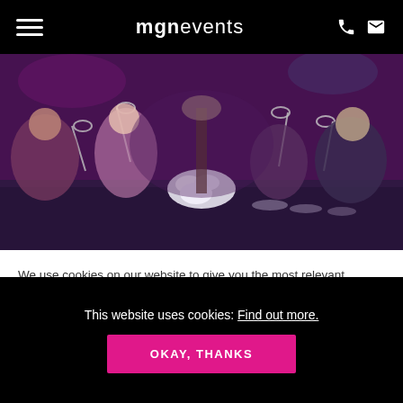mgnevents [hamburger menu, phone icon, email icon]
[Figure (photo): People at a formal dinner event raising champagne glasses in a toast. The scene is lit with purple/pink lighting, with white floral centerpieces on the long dining table. Elegantly dressed guests are clinking glasses across the table.]
We use cookies on our website to give you the most relevant experience by remembering your preferences and repeat visits. By clicking "Accept All", you consent to the use of ALL the cookies. However, you may visit "Cookie Settings" to provide a controlled
This website uses cookies: Find out more.
OKAY, THANKS